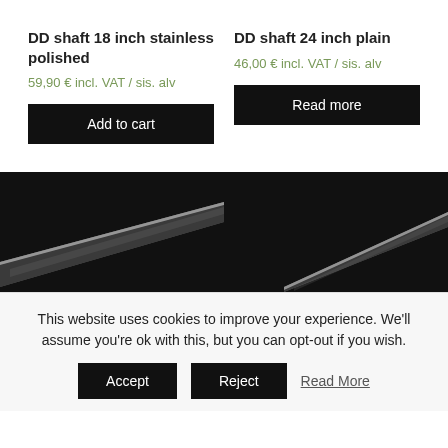DD shaft 18 inch stainless polished
59,90 € incl. VAT / sis. alv
Add to cart
DD shaft 24 inch plain
46,00 € incl. VAT / sis. alv
Read more
[Figure (photo): Close-up photo of a dark metallic shaft/rod on black background, left product]
[Figure (photo): Close-up photo of a dark metallic shaft/rod on black background, right product]
This website uses cookies to improve your experience. We'll assume you're ok with this, but you can opt-out if you wish.
Accept
Reject
Read More